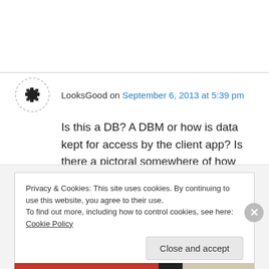LooksGood on September 6, 2013 at 5:39 pm
Is this a DB? A DBM or how is data kept for access by the client app? Is there a pictoral somewhere of how the pieces are to be used?
↳ Reply
Privacy & Cookies: This site uses cookies. By continuing to use this website, you agree to their use.
To find out more, including how to control cookies, see here: Cookie Policy
Close and accept